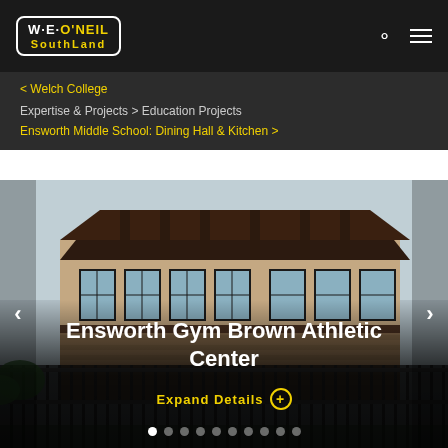W·E·O'NEIL SouthLand
< Welch College
Expertise & Projects > Education Projects
Ensworth Middle School: Dining Hall & Kitchen >
[Figure (photo): Exterior photo of Ensworth Gym Brown Athletic Center building showing brick and dark timber facade with covered walkway and metal fence in foreground]
Ensworth Gym Brown Athletic Center
Expand Details ⊕